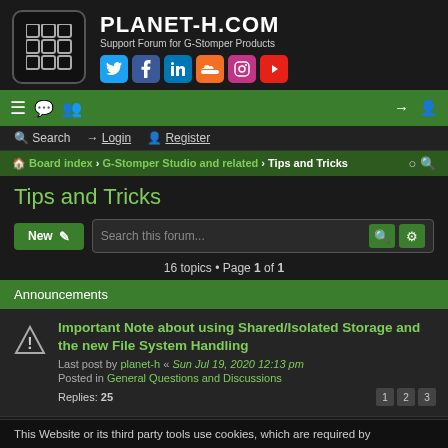PLANET-H.COM — Support Forum for G-Stomper Products
[Figure (logo): Planet-H.com grid logo icon with white grid cells on black background]
Search  Login  Register
Board index › G-Stomper Studio and related › Tips and Tricks
Tips and Tricks
16 topics • Page 1 of 1
Announcements
Important Note about using Shared/Isolated Storage and the new File System Handling
Last post by planet-h « Sun Jul 19, 2020 12:13 pm
Posted in General Questions and Discussions
Replies: 25
This Website or its third party tools use cookies, which are required by